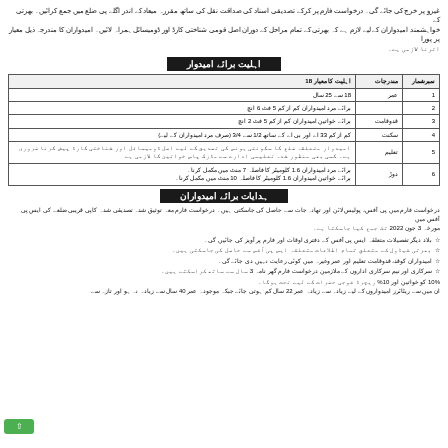غیرو پر خرچ کی جائے گی۔ درخواست فارم پر کرکے تصدیقی اسناد کی صداقت نقل کی ساتھ مقررہ میعاد کے اندر اگلے پی ضلع میں جمع کرائیں۔ بھرتی کے خواہشمند امیدواران کے لیے لازم ہے کہ بھرتی کے تمام مراحل کے دوران اصل قومی شناختی کارڈ اور ڈومیسائل ہمراہ لائیں۔ امیدواران کا مندرجہ ذیل معیار پر پورا اترنا لازمی ہے۔
اہلیت برائے امیدوار
| نمبرشمار | مندرجات | اہلیت کا معیار 18 |
| --- | --- | --- |
| 1 | عمر | 18 سے 25 سال |
| 2 |  | برائے مرد امیدواران کم از کم 5 فٹ 6 انچ |
| 3 | قدوقامت | برائے خواتین امیدواران کم از کم 5 فٹ 2 انچ |
| 4 | سکنت | کم از کم 33 اے اور بی اے کے ساتھ 1/2 سے 3/4 (صرف مرد امیدواران کے لیے) |
| 5 | تعلیم | امیدوار متعلقہ ضلع کا سکونتی ہونس کی تصدیق کے لیے اصل ڈومیسائل اور شناختی کارڈ پیش کرنا ضروری ہے۔ کسی بھی منظور شدہ تعلیمی ادارے سے مڈرک پاس خواتین کا لازمی ہے |
| 6 | دوڑ | برائے مرد امیدواران 1.6 کلومیٹر کا فاصلہ 7 منٹ میں مکمل کرنا۔
برائے خواتین امیدواران 1.6 کلومیٹر کا فاصلہ 10 منٹ میں مکمل کرنا۔ |
ہدایات برائے امیدواران
درخواست فارم میں پی آفس، پولیس لائن اور تھانہ جات سے حاصل کی جاسکتی ہیں۔ درخواست فارم معہ توثیق شدہ تصدیقی شدہ کاپی قریبی ضلعے کی ایس پی آفس میں مورخہ 3 جون 2022 تک جمع کیا جاسکتا ہے۔
بلاد دیگر تفصیلات متعلقہ ایس پی آفس کے دفتری اوقات اور آویز پر آویز کی جائیں گی۔
بھرتی شیڈول کے متعلق تمام اطلاعات متعلقہ ایس پی آفس سے حاصل کی جاسکتی ہیں۔
امیدواران کوقد، قدوقامت تعلیم اور عمر وغیرہ میں کوئی رعایت نہیں دی جائے گی۔
سرکاری اور نیم سرکاری اداروں کے ملازمین درخواست فارم گھر نامہ 3 سال سے ساتھ کراسکتے ہیں۔
10% کو خواتین اور 10% ریچرڈ فوجی حضرات کے لیے تحت ہوگا۔
ان میں سے ریٹائرز امیدواروں کے لیے زیادہ سے زیادہ عمر 22 سال کم ہوتی جائے جبکہ موجودہ عمر 40 سال سے زیادہ نہ ہو اور تازہ سے